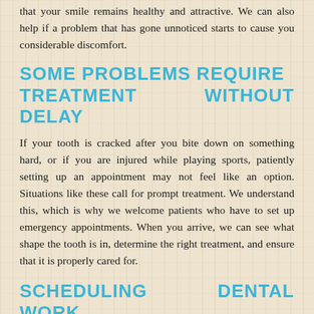that your smile remains healthy and attractive. We can also help if a problem that has gone unnoticed starts to cause you considerable discomfort.
SOME PROBLEMS REQUIRE TREATMENT WITHOUT DELAY
If your tooth is cracked after you bite down on something hard, or if you are injured while playing sports, patiently setting up an appointment may not feel like an option. Situations like these call for prompt treatment. We understand this, which is why we welcome patients who have to set up emergency appointments. When you arrive, we can see what shape the tooth is in, determine the right treatment, and ensure that it is properly cared for.
SCHEDULING DENTAL WORK TO RESTORE AN INJURED TOOTH